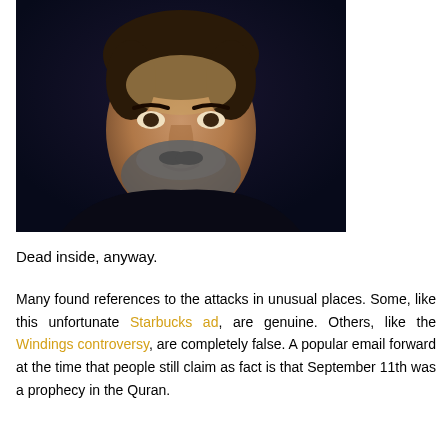[Figure (photo): Close-up portrait of a middle-aged man with dark hair, beard and mustache, against a dark navy background. The man appears to be wearing a dark top.]
Dead inside, anyway.
Many found references to the attacks in unusual places. Some, like this unfortunate Starbucks ad, are genuine. Others, like the Windings controversy, are completely false. A popular email forward at the time that people still claim as fact is that September 11th was a prophecy in the Quran.